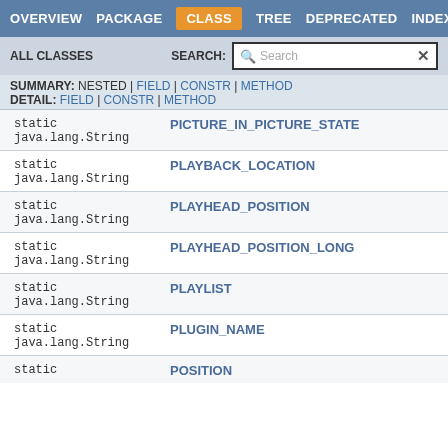OVERVIEW  PACKAGE  CLASS  TREE  DEPRECATED  INDEX
ALL CLASSES   SEARCH:
SUMMARY: NESTED | FIELD | CONSTR | METHOD  DETAIL: FIELD | CONSTR | METHOD
| Modifier and Type | Field |
| --- | --- |
| static java.lang.String | PICTURE_IN_PICTURE_STATE |
| static java.lang.String | PLAYBACK_LOCATION |
| static java.lang.String | PLAYHEAD_POSITION |
| static java.lang.String | PLAYHEAD_POSITION_LONG |
| static java.lang.String | PLAYLIST |
| static java.lang.String | PLUGIN_NAME |
| static | POSITION |